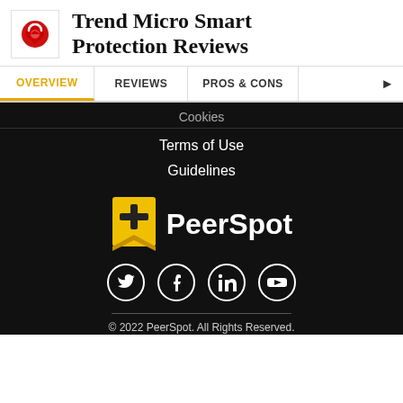Trend Micro Smart Protection Reviews
OVERVIEW | REVIEWS | PROS & CONS
Cookies
Terms of Use
Guidelines
[Figure (logo): PeerSpot logo with yellow bookmark icon and white PeerSpot wordmark on black background]
[Figure (infographic): Social media icons: Twitter, Facebook, LinkedIn, YouTube in white circles on black background]
© 2022 PeerSpot. All Rights Reserved.